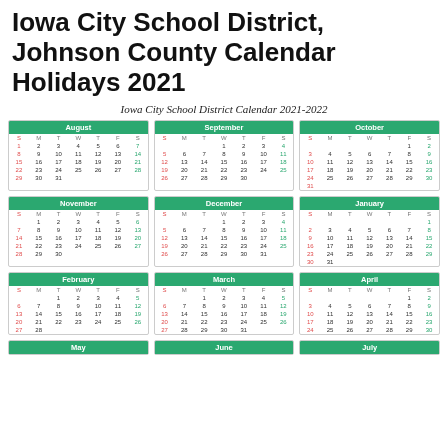Iowa City School District, Johnson County Calendar Holidays 2021
Iowa City School District Calendar 2021-2022
| August | S | M | T | W | T | F | S |
| --- | --- | --- | --- | --- | --- | --- | --- |
| September | S | M | T | W | T | F | S |
| --- | --- | --- | --- | --- | --- | --- | --- |
| October | S | M | T | W | T | F | S |
| --- | --- | --- | --- | --- | --- | --- | --- |
| November | S | M | T | W | T | F | S |
| --- | --- | --- | --- | --- | --- | --- | --- |
| December | S | M | T | W | T | F | S |
| --- | --- | --- | --- | --- | --- | --- | --- |
| January | S | M | T | W | T | F | S |
| --- | --- | --- | --- | --- | --- | --- | --- |
| February | S | M | T | W | T | F | S |
| --- | --- | --- | --- | --- | --- | --- | --- |
| March | S | M | T | W | T | F | S |
| --- | --- | --- | --- | --- | --- | --- | --- |
| April | S | M | T | W | T | F | S |
| --- | --- | --- | --- | --- | --- | --- | --- |
May
June
July